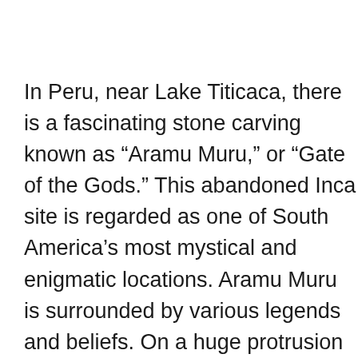In Peru, near Lake Titicaca, there is a fascinating stone carving known as “Aramu Muru,” or “Gate of the Gods.” This abandoned Inca site is regarded as one of South America’s most mystical and enigmatic locations. Aramu Muru is surrounded by various legends and beliefs. On a huge protrusion